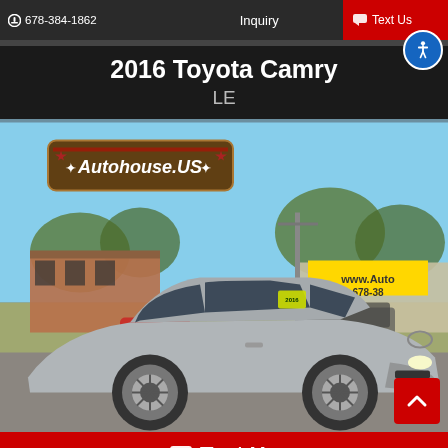678-384-1862  Inquiry  Text Us
2016 Toyota Camry
LE
[Figure (photo): Silver 2016 Toyota Camry LE parked at Autohouse.US dealership lot with Autohouse.US logo watermark in upper left and dealer signage in background]
Text Us